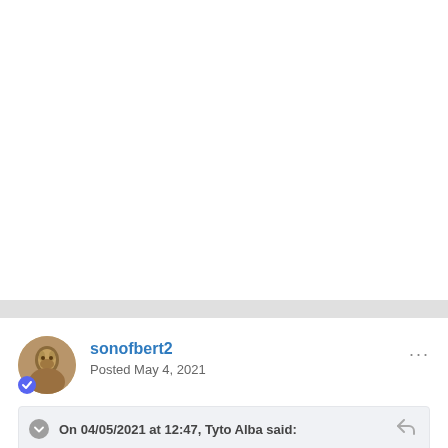sonofbert2
Posted May 4, 2021
On 04/05/2021 at 12:47, Tyto Alba said:
Not many footballers these days have a actual connection with the city or the fans.